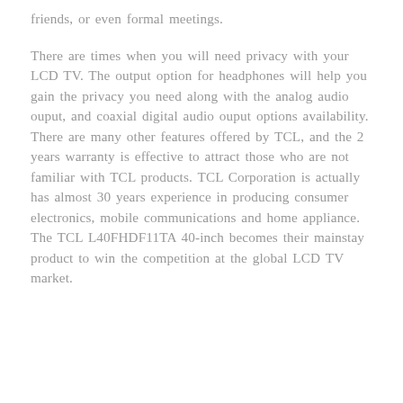friends, or even formal meetings.
There are times when you will need privacy with your LCD TV. The output option for headphones will help you gain the privacy you need along with the analog audio ouput, and coaxial digital audio ouput options availability. There are many other features offered by TCL, and the 2 years warranty is effective to attract those who are not familiar with TCL products. TCL Corporation is actually has almost 30 years experience in producing consumer electronics, mobile communications and home appliance. The TCL L40FHDF11TA 40-inch becomes their mainstay product to win the competition at the global LCD TV market.